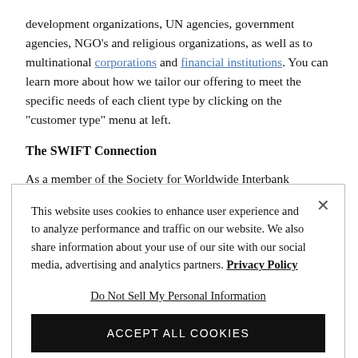development organizations, UN agencies, government agencies, NGO's and religious organizations, as well as to multinational corporations and financial institutions. You can learn more about how we tailor our offering to meet the specific needs of each client type by clicking on the "customer type" menu at left.
The SWIFT Connection
As a member of the Society for Worldwide Interbank Financial
This website uses cookies to enhance user experience and to analyze performance and traffic on our website. We also share information about your use of our site with our social media, advertising and analytics partners. Privacy Policy
Do Not Sell My Personal Information
ACCEPT ALL COOKIES